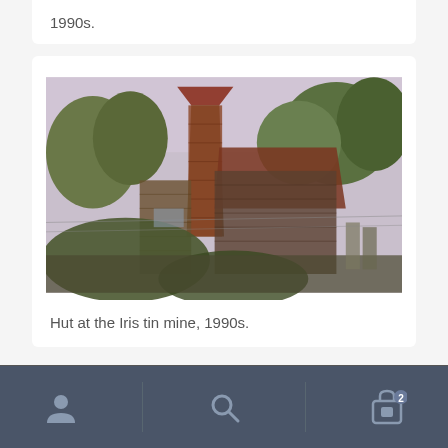1990s.
[Figure (photo): Old ruined hut at the Iris tin mine, photographed in the 1990s. A dilapidated wooden structure with rusted corrugated iron roof panels, surrounded by dense green vegetation and trees under a grey-pink sky.]
Hut at the Iris tin mine, 1990s.
In Historic Tasmanian mountain huts, Simon Cubit and I told the story of the three Davis brothers,